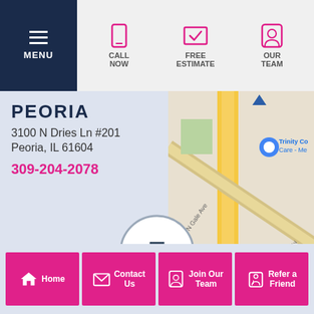MENU | CALL NOW | FREE ESTIMATE | OUR TEAM
PEORIA
3100 N Dries Ln #201
Peoria, IL 61604
309-204-2078
[Figure (map): Google Maps view showing location near N Gale Ave and N University area, Peoria IL with Trinity Co Care - Me marker]
[Figure (logo): HomeAdvisor Screened & Approved badge - 5 Years]
Home | Contact Us | Join Our Team | Refer a Friend